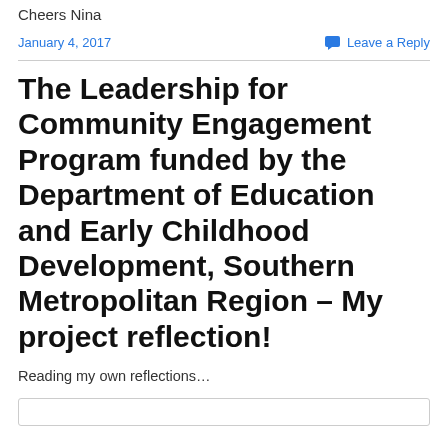Cheers Nina
January 4, 2017
Leave a Reply
The Leadership for Community Engagement Program funded by the Department of Education and Early Childhood Development, Southern Metropolitan Region – My project reflection!
Reading my own reflections…